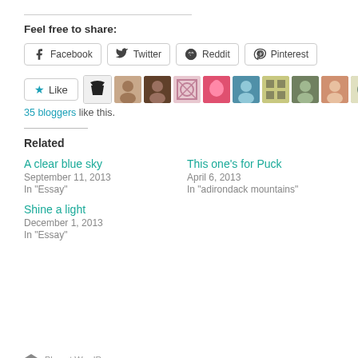Feel free to share:
[Figure (infographic): Social share buttons: Facebook, Twitter, Reddit, Pinterest]
[Figure (infographic): Like button with star icon and row of 10 blogger avatar thumbnails]
35 bloggers like this.
Related
A clear blue sky
September 11, 2013
In "Essay"
This one's for Puck
April 6, 2013
In "adirondack mountains"
Shine a light
December 1, 2013
In "Essay"